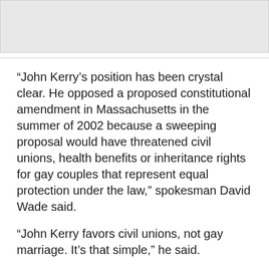[Figure (other): Gray image placeholder at top of page]
“John Kerry’s position has been crystal clear. He opposed a proposed constitutional amendment in Massachusetts in the summer of 2002 because a sweeping proposal would have threatened civil unions, health benefits or inheritance rights for gay couples that represent equal protection under the law,” spokesman David Wade said.
“John Kerry favors civil unions, not gay marriage. It’s that simple,” he said.
In 1986, Mr. Kerry gave an impassioned 10-minute speech on the Senate floor against an